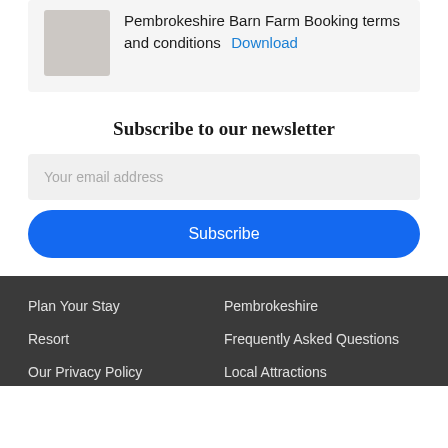Pembrokeshire Barn Farm Booking terms and conditions
Download
Subscribe to our newsletter
Your email address
Subscribe
Plan Your Stay  Pembrokeshire  Resort  Frequently Asked Questions  Our Privacy Policy  Local Attractions